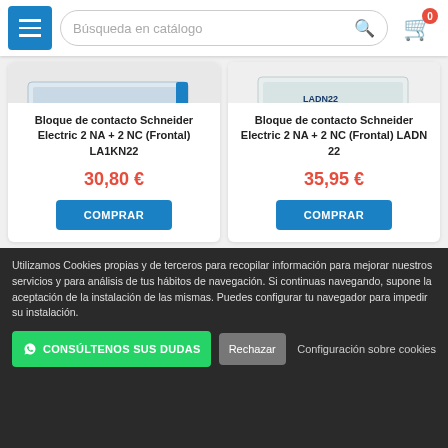Búsqueda en catálogo
[Figure (photo): Bloque de contacto Schneider Electric LA1KN22 - product photo showing 4 contact terminals labeled 54 NO, 62 NC, 72 NC, 84 NO]
Bloque de contacto Schneider Electric 2 NA + 2 NC (Frontal) LA1KN22
30,80 €
COMPRAR
[Figure (photo): Bloque de contacto Schneider Electric LADN22 - product photo showing white contact block]
Bloque de contacto Schneider Electric 2 NA + 2 NC (Frontal) LADN 22
35,95 €
COMPRAR
Utilizamos Cookies propias y de terceros para recopilar información para mejorar nuestros servicios y para análisis de tus hábitos de navegación. Si continuas navegando, supone la aceptación de la instalación de las mismas. Puedes configurar tu navegador para impedir su instalación.
CONSÚLTENOS SUS DUDAS
Rechazar
Configuración sobre cookies